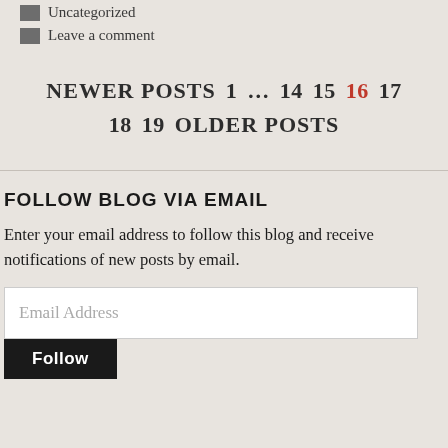Uncategorized
Leave a comment
NEWER POSTS  1  …  14  15  16  17  18  19  OLDER POSTS
FOLLOW BLOG VIA EMAIL
Enter your email address to follow this blog and receive notifications of new posts by email.
Email Address
Follow